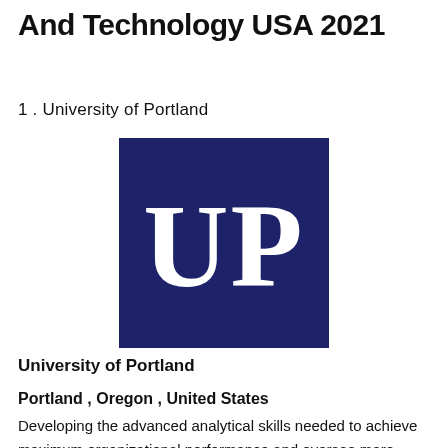And Technology USA 2021
1 . University of Portland
[Figure (logo): University of Portland logo: dark navy blue square with large white serif letters 'UP' centered inside]
University of Portland
Portland , Oregon , United States
Developing the advanced analytical skills needed to achieve maximum organizational performance and oversee more